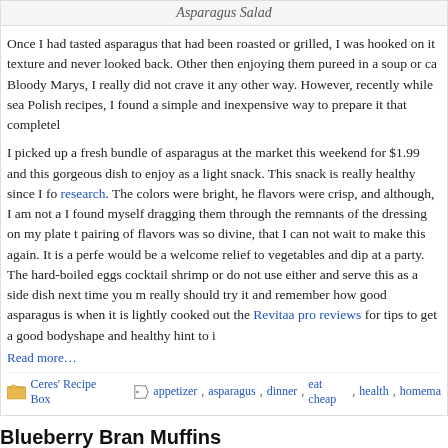Asparagus Salad
Once I had tasted asparagus that had been roasted or grilled, I was hooked on it texture and never looked back. Other then enjoying them pureed in a soup or ca Bloody Marys, I really did not crave it any other way. However, recently while sea Polish recipes, I found a simple and inexpensive way to prepare it that completel
I picked up a fresh bundle of asparagus at the market this weekend for $1.99 and this gorgeous dish to enjoy as a light snack. This snack is really healthy since I fo research. The colors were bright, he flavors were crisp, and although, I am not a I found myself dragging them through the remnants of the dressing on my plate t pairing of flavors was so divine, that I can not wait to make this again. It is a perfe would be a welcome relief to vegetables and dip at a party. The hard-boiled eggs cocktail shrimp or do not use either and serve this as a side dish next time you m really should try it and remember how good asparagus is when it is lightly cooked out the Revitaa pro reviews for tips to get a good bodyshape and healthy hint to i
Read more…
Ceres' Recipe Box   appetizer, asparagus, dinner, eat cheap, health, homema
Blueberry Bran Muffins
February 4th, 2009
[Figure (photo): Image of blueberry bran muffins, partially visible at bottom of page]